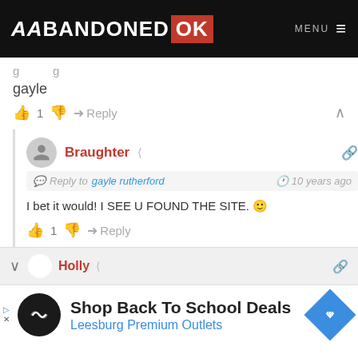ABANDONED OK MENU
gayle
👍 1 👎 ➜ Reply ∧
Braughter — Reply to gayle rutherford — 10 years ago
I bet it would! I SEE U FOUND THE SITE. 🙂
👍 1 👎 ➜ Reply
Holly
[Figure (screenshot): Advertisement banner: Shop Back To School Deals — Leesburg Premium Outlets]